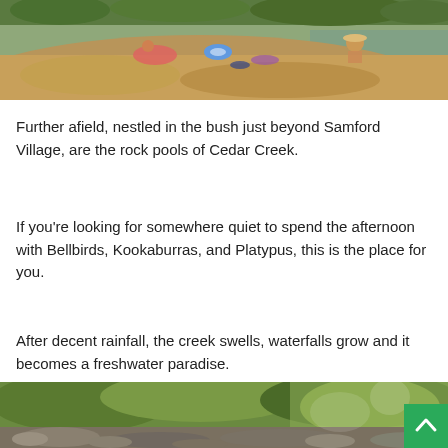[Figure (photo): Sandy riverbank with people relaxing, a blue inflatable ring, and a calm river with green trees in the background — Cedar Creek swimming area.]
Further afield, nestled in the bush just beyond Samford Village, are the rock pools of Cedar Creek.
If you're looking for somewhere quiet to spend the afternoon with Bellbirds, Kookaburras, and Platypus, this is the place for you.
After decent rainfall, the creek swells, waterfalls grow and it becomes a freshwater paradise.
[Figure (photo): Rocky creek bed surrounded by lush green bushland and dappled sunlight filtering through trees — Cedar Creek natural landscape.]